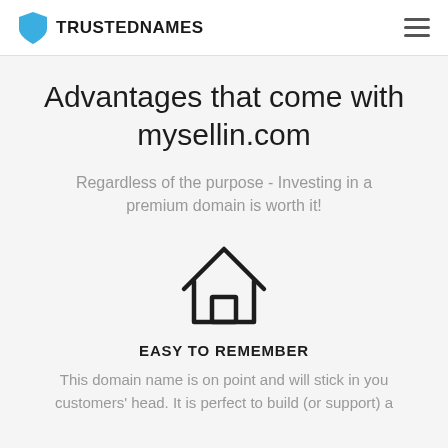TRUSTEDNAMES
Advantages that come with mysellin.com
Regardless of the purpose - Investing in a premium domain is worth it!
[Figure (illustration): House / home icon outline]
EASY TO REMEMBER
This domain name is on point and will stick in you customers' head. It is perfect to build (or support) a